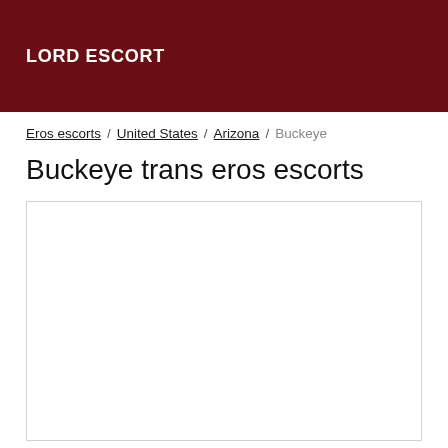LORD ESCORT
Eros escorts / United States / Arizona / Buckeye
Buckeye trans eros escorts
[Figure (other): Empty white content box with border]